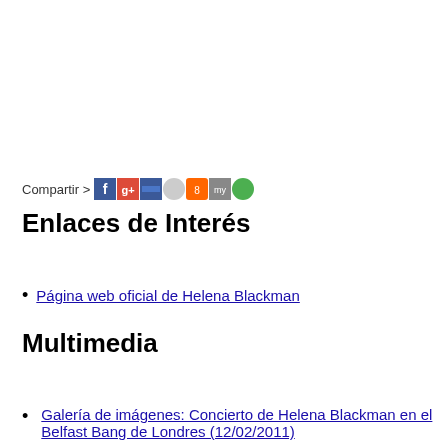[Figure (other): Compartir row with social media sharing icons: Facebook, Google+, Delicious, and others]
Enlaces de Interés
Página web oficial de Helena Blackman
Multimedia
Galería de imágenes: Concierto de Helena Blackman en el Belfast Bang de Londres (12/02/2011)